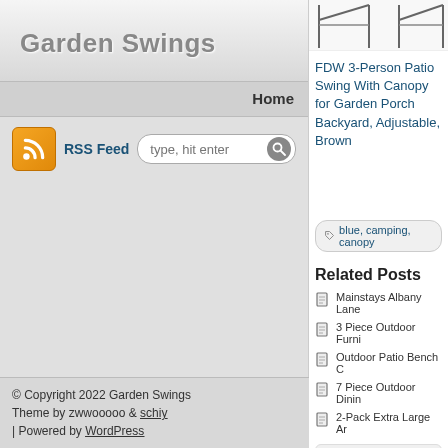Garden Swings
Home
RSS Feed  type, hit enter
Log in
© Copyright 2022 Garden Swings
Theme by zwwooooo & schiy
| Powered by WordPress
[Figure (photo): Product image of patio swing chairs (partially visible at top)]
FDW 3-Person Patio Swing With Canopy for Garden Porch Backyard, Adjustable, Brown
blue, camping, canopy
Related Posts
Mainstays Albany Lane
3 Piece Outdoor Furni
Outdoor Patio Bench C
7 Piece Outdoor Dinin
2-Pack Extra Large Ar
Comments are close